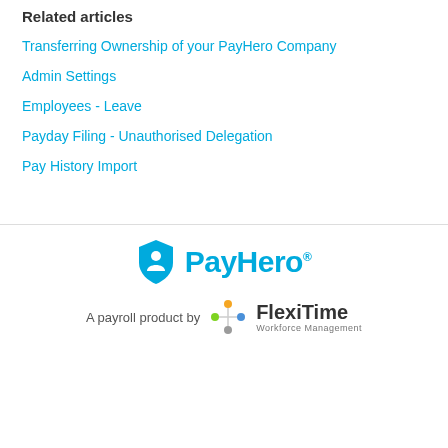Related articles
Transferring Ownership of your PayHero Company
Admin Settings
Employees - Leave
Payday Filing - Unauthorised Delegation
Pay History Import
[Figure (logo): PayHero logo with shield icon and 'PayHero' wordmark in cyan blue]
[Figure (logo): FlexiTime Workforce Management logo with colorful star/cross icon, text 'A payroll product by FlexiTime Workforce Management']